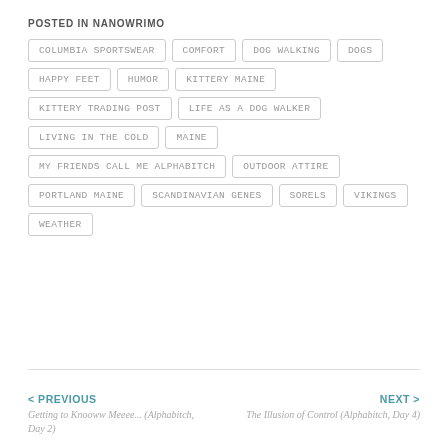POSTED IN NANOWRIMO
COLUMBIA SPORTSWEAR
COMFORT
DOG WALKING
DOGS
HAPPY FEET
HUMOR
KITTERY MAINE
KITTERY TRADING POST
LIFE AS A DOG WALKER
LIVING IN THE COLD
MAINE
MY FRIENDS CALL ME ALPHABITCH
OUTDOOR ATTIRE
PORTLAND MAINE
SCANDINAVIAN GENES
SORELS
VIKINGS
WEATHER
< PREVIOUS
Getting to Knooww Meeee... (Alphabitch, Day 2)
NEXT >
The Illusion of Control (Alphabitch, Day 4)